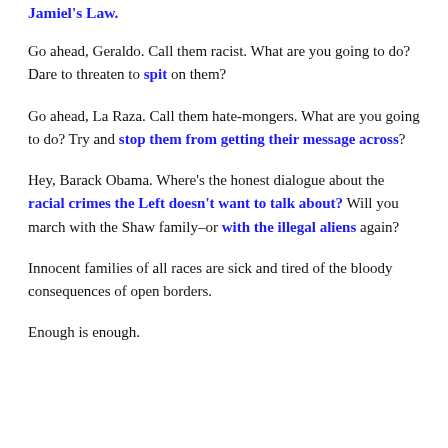Jamiel's Law.
Go ahead, Geraldo. Call them racist. What are you going to do? Dare to threaten to spit on them?
Go ahead, La Raza. Call them hate-mongers. What are you going to do? Try and stop them from getting their message across?
Hey, Barack Obama. Where's the honest dialogue about the racial crimes the Left doesn't want to talk about? Will you march with the Shaw family–or with the illegal aliens again?
Innocent families of all races are sick and tired of the bloody consequences of open borders.
Enough is enough.